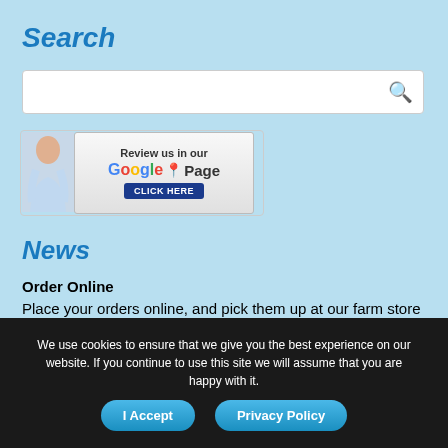Search
[Figure (screenshot): Search input box with magnifying glass icon on light blue background]
[Figure (illustration): Google Local Page review banner with woman thinking, 'Review us in our Google Local Page - CLICK HERE' button]
News
Order Online
Place your orders online, and pick them up at our farm store
We use cookies to ensure that we give you the best experience on our website. If you continue to use this site we will assume that you are happy with it.